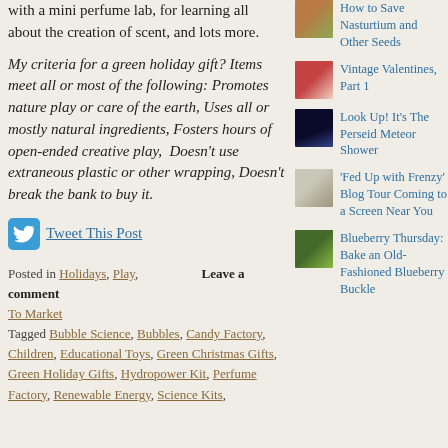with a mini perfume lab, for learning all about the creation of scent, and lots more.
My criteria for a green holiday gift? Items meet all or most of the following: Promotes nature play or care of the earth, Uses all or mostly natural ingredients, Fosters hours of open-ended creative play, Doesn’t use extraneous plastic or other wrapping, Doesn’t break the bank to buy it.
Tweet This Post
Posted in Holidays, Play, To Market   Leave a comment
Tagged Bubble Science, Bubbles, Candy Factory, Children, Educational Toys, Green Christmas Gifts, Green Holiday Gifts, Hydropower Kit, Perfume Factory, Renewable Energy, Science Kits,
How to Save Nasturtium and Other Seeds
Vintage Valentines, Part 1
Look Up! It’s The Perseid Meteor Shower
'Fed Up with Frenzy' Blog Tour Coming to a Screen Near You
Blueberry Thursday: Bake an Old-Fashioned Blueberry Buckle